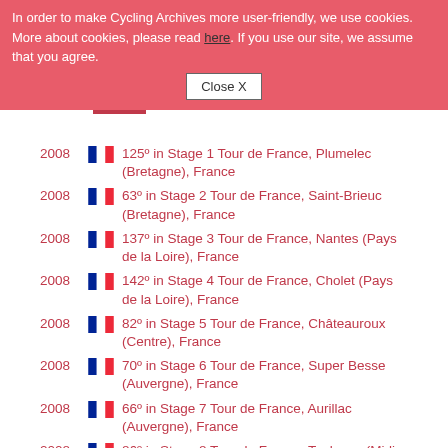In order to make Cycling Archives more user-friendly, we use cookies. More about cookies, please read here. If you use our site, we assume that you agree. Close X
2008  125º in Stage 1 Tour de France, Plumelec (Bretagne), France
2008  63º in Stage 2 Tour de France, Saint-Brieuc (Bretagne), France
2008  137º in Stage 3 Tour de France, Nantes (Pays de la Loire), France
2008  142º in Stage 4 Tour de France, Cholet (Pays de la Loire), France
2008  82º in Stage 5 Tour de France, Châteauroux (Centre), France
2008  70º in Stage 6 Tour de France, Super Besse (Auvergne), France
2008  66º in Stage 7 Tour de France, Aurillac (Auvergne), France
2008  86º in Stage 8 Tour de France, Toulouse (Midi-Pyrenees), France
2008  44º in Stage 9 Tour de France, Bagnères-de-Bigorre (Midi-Pyrenees), France